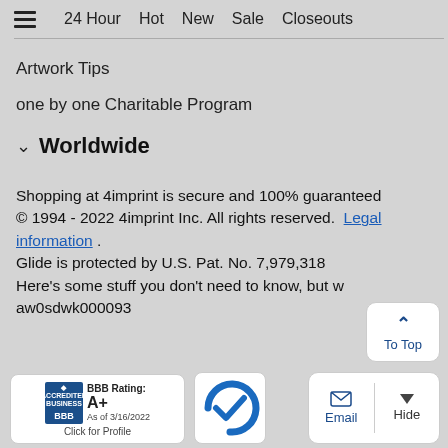≡  24 Hour  Hot  New  Sale  Closeouts
Artwork Tips
one by one Charitable Program
∨  Worldwide
Shopping at 4imprint is secure and 100% guaranteed © 1994 - 2022 4imprint Inc. All rights reserved. Legal information . Glide is protected by U.S. Pat. No. 7,979,318 Here's some stuff you don't need to know, but w aw0sdwk000093
[Figure (logo): BBB Accredited Business badge with A+ rating as of 3/16/2022, Click for Profile]
[Figure (logo): Blue circular checkmark badge]
[Figure (other): To Top button with upward chevron]
[Figure (other): Email and Hide buttons panel]